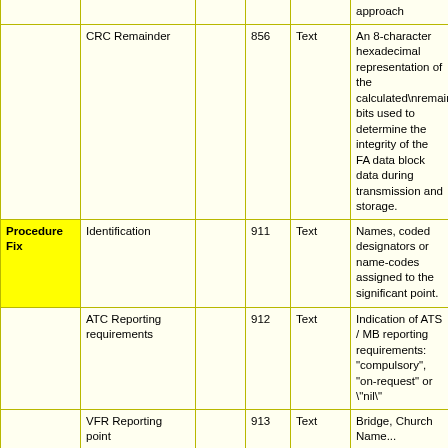|  | Field Name |  | Code | Type | Description |
| --- | --- | --- | --- | --- | --- |
|  |  |  |  |  | approach |
|  | CRC Remainder |  | 856 | Text | An 8-character hexadecimal representation of the calculated\nremainder bits used to determine the integrity of the FA data block data during transmission and storage. |
| Procedure Fix | Identification |  | 911 | Text | Names, coded designators or name-codes assigned to the significant point. |
|  | ATC Reporting requirements |  | 912 | Text | Indication of ATS / MB reporting requirements: "compulsory", "on-request" or \"nil\" |
|  | VFR Reporting point |  | 913 | Text | Bridge, Church Name... |
|  | Position |  | 914 | Point | Geographical location of the fix. |